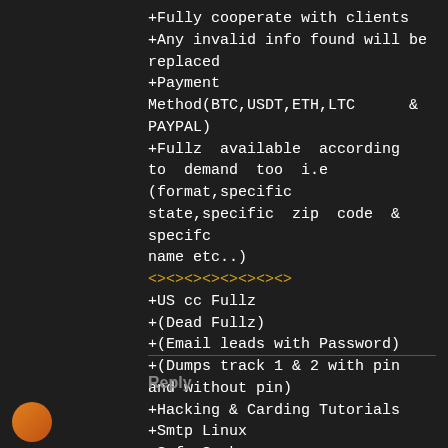+Fully cooperate with clients
+Any invalid info found will be replaced
+Payment      Method(BTC,USDT,ETH,LTC      &
PAYPAL)
+Fullz  available  according  to  demand  too  i.e
(format,specific  state,specific  zip  code  &  specifc
name etc..)
<><><><><><><><>
+US cc Fullz
+(Dead Fullz)
+(Email leads with Password)
+(Dumps track 1 & 2 with pin and without pin)
+Hacking & Carding Tutorials
+Smtp Linux
+Safe Sock
+Server I.P's
+HQ Emails with passwords
<><><><><><>
*Let's do a long term business with good profit
*Contact for more details & deal
Reply